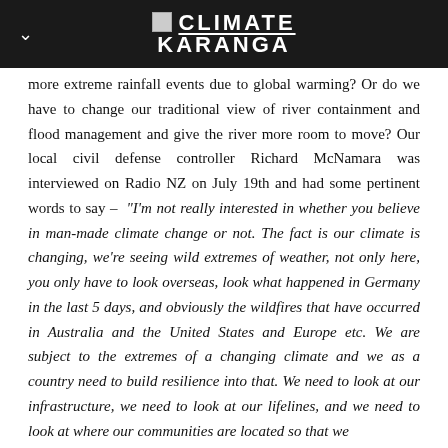CLIMATE KARANGA
more extreme rainfall events due to global warming? Or do we have to change our traditional view of river containment and flood management and give the river more room to move? Our local civil defense controller Richard McNamara was interviewed on Radio NZ on July 19th and had some pertinent words to say – "I'm not really interested in whether you believe in man-made climate change or not. The fact is our climate is changing, we're seeing wild extremes of weather, not only here, you only have to look overseas, look what happened in Germany in the last 5 days, and obviously the wildfires that have occurred in Australia and the United States and Europe etc. We are subject to the extremes of a changing climate and we as a country need to build resilience into that. We need to look at our infrastructure, we need to look at our lifelines, and we need to look at where our communities are located so that we